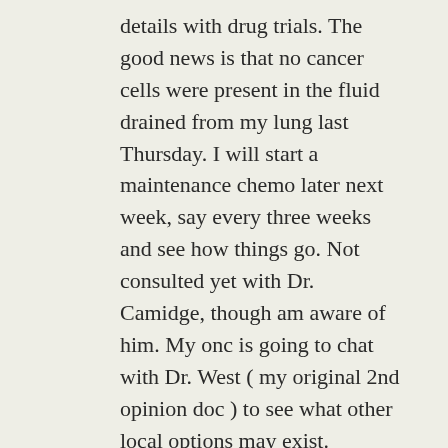details with drug trials. The good news is that no cancer cells were present in the fluid drained from my lung last Thursday. I will start a maintenance chemo later next week, say every three weeks and see how things go. Not consulted yet with Dr. Camidge, though am aware of him. My onc is going to chat with Dr. West ( my original 2nd opinion doc ) to see what other local options may exist. Nothing is too critical now. I had lots of issues early and late summer. Then brain surgery at Swedish mid-September. I have an acquaintance who is a patient of Dr. Camidge and I have family outside Denver so if that becomes an option it is easily doable.